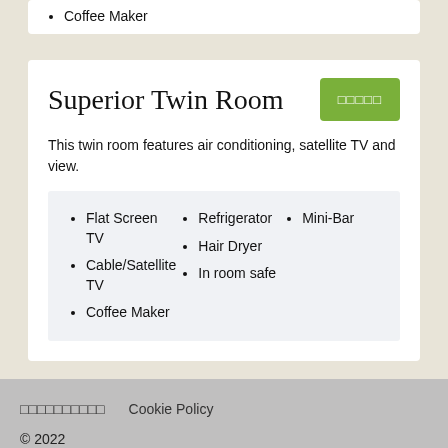Coffee Maker
Superior Twin Room
This twin room features air conditioning, satellite TV and view.
Flat Screen TV
Cable/Satellite TV
Coffee Maker
Refrigerator
Hair Dryer
In room safe
Mini-Bar
□□□□□□□□□□   Cookie Policy
© 2022